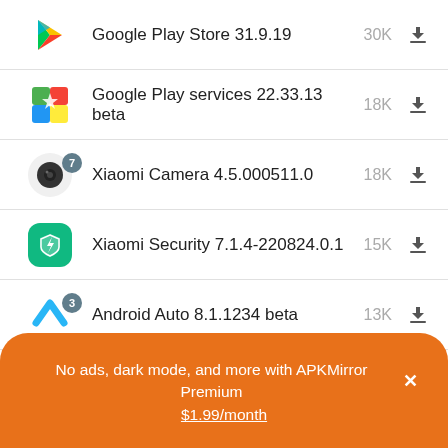Google Play Store 31.9.19 — 30K downloads
Google Play services 22.33.13 beta — 18K downloads
Xiaomi Camera 4.5.000511.0 — 18K downloads
Xiaomi Security 7.1.4-220824.0.1 — 15K downloads
Android Auto 8.1.1234 beta — 13K downloads
YouTube 17.33.42 — 10K downloads
No ads, dark mode, and more with APKMirror Premium × $1.99/month